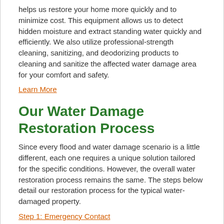helps us restore your home more quickly and to minimize cost. This equipment allows us to detect hidden moisture and extract standing water quickly and efficiently. We also utilize professional-strength cleaning, sanitizing, and deodorizing products to cleaning and sanitize the affected water damage area for your comfort and safety.
Learn More
Our Water Damage Restoration Process
Since every flood and water damage scenario is a little different, each one requires a unique solution tailored for the specific conditions. However, the overall water restoration process remains the same. The steps below detail our restoration process for the typical water-damaged property.
Step 1: Emergency Contact
Step 2: Inspection and Damage Assessment
Step 3: Water Removal/Water Extraction